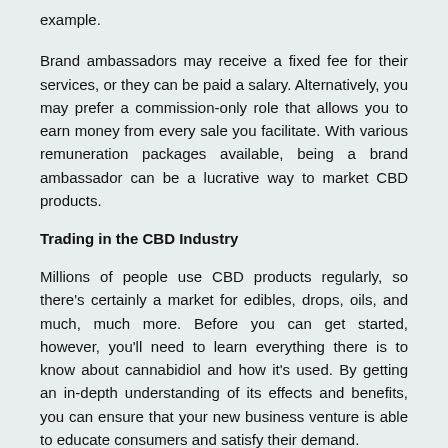example.
Brand ambassadors may receive a fixed fee for their services, or they can be paid a salary. Alternatively, you may prefer a commission-only role that allows you to earn money from every sale you facilitate. With various remuneration packages available, being a brand ambassador can be a lucrative way to market CBD products.
Trading in the CBD Industry
Millions of people use CBD products regularly, so there's certainly a market for edibles, drops, oils, and much, much more. Before you can get started, however, you'll need to learn everything there is to know about cannabidiol and how it's used. By getting an in-depth understanding of its effects and benefits, you can ensure that your new business venture is able to educate consumers and satisfy their demand.